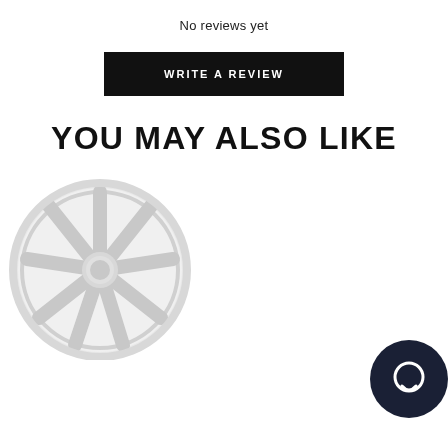No reviews yet
WRITE A REVIEW
YOU MAY ALSO LIKE
[Figure (photo): A light grey alloy wheel (Braelin BR09) with multi-spoke design, viewed from front angle.]
BRAELIN BR09 FOR TESLA MODEL S/X
from $1,440.00
FASTEV EV02 WHEELS FOR TESLA MODEL 3 18" - GLOSS BLACK (SET OF 4)
FASTEV WHEELS RUS
from $3,